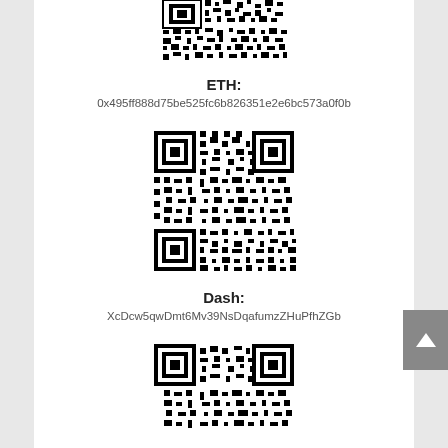[Figure (other): Partial QR code at top of page (bottom portion visible), for ETH address]
ETH:
0x495ff888d75be525fc6b826351e2e6bc573a0f0b
[Figure (other): QR code for Dash cryptocurrency address]
Dash:
XcDcw5qwDmt6Mv39NsDqafumzZHuPfhZGb
[Figure (other): Partial QR code at bottom of page (top portion visible), for another cryptocurrency address]